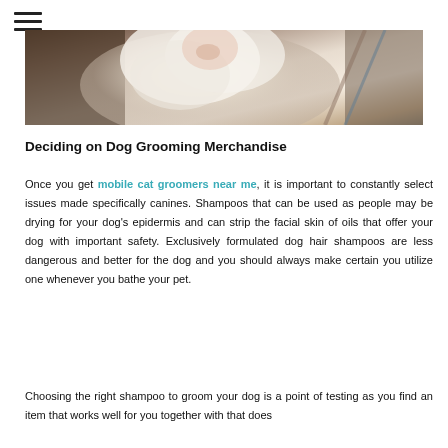[Figure (photo): A close-up photo of a fluffy white dog being groomed, visible from approximately the chest up with grooming equipment in the background.]
Deciding on Dog Grooming Merchandise
Once you get mobile cat groomers near me, it is important to constantly select issues made specifically canines. Shampoos that can be used as people may be drying for your dog's epidermis and can strip the facial skin of oils that offer your dog with important safety. Exclusively formulated dog hair shampoos are less dangerous and better for the dog and you should always make certain you utilize one whenever you bathe your pet.
Choosing the right shampoo to groom your dog is a point of testing as you find an item that works well for you together with that does